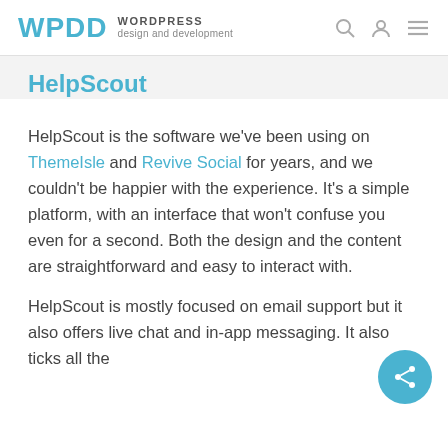WPDD WORDPRESS design and development
HelpScout
HelpScout is the software we've been using on ThemeIsle and Revive Social for years, and we couldn't be happier with the experience. It's a simple platform, with an interface that won't confuse you even for a second. Both the design and the content are straightforward and easy to interact with.
HelpScout is mostly focused on email support but it also offers live chat and in-app messaging. It also ticks all the